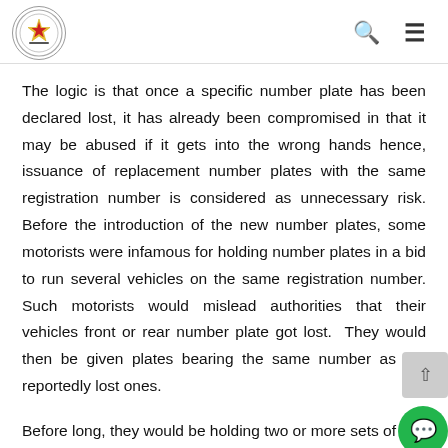Parliament of Zimbabwe header with logo, search icon, and menu icon
The logic is that once a specific number plate has been declared lost, it has already been compromised in that it may be abused if it gets into the wrong hands hence, issuance of replacement number plates with the same registration number is considered as unnecessary risk. Before the introduction of the new number plates, some motorists were infamous for holding number plates in a bid to run several vehicles on the same registration number. Such motorists would mislead authorities that their vehicles front or rear number plate got lost. They would then be given plates bearing the same number as the reportedly lost ones.
Before long, they would be holding two or more sets of